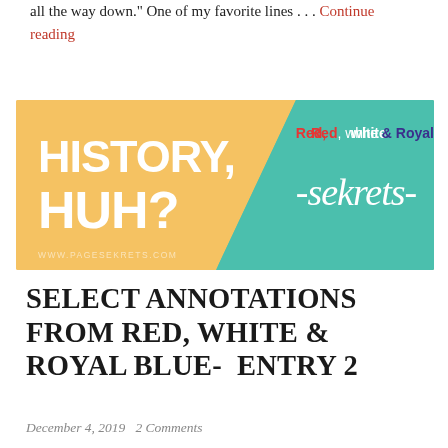all the way down." One of my favorite lines . . . Continue reading
[Figure (illustration): Blog banner image with yellow-orange and teal background. Left side yellow with bold white text 'HISTORY, HUH?' and small text 'www.pagesekrits.com'. Right side teal with script text '-sekrets-' and colored text 'Red, White & Royal Blue' above it.]
SELECT ANNOTATIONS FROM RED, WHITE & ROYAL BLUE- ENTRY 2
December 4, 2019   2 Comments